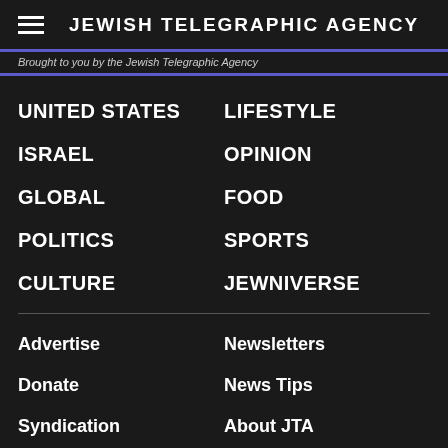JEWISH TELEGRAPHIC AGENCY
Brought to you by the Jewish Telegraphic Agency
UNITED STATES
LIFESTYLE
ISRAEL
OPINION
GLOBAL
FOOD
POLITICS
SPORTS
CULTURE
JEWNIVERSE
Advertise
Newsletters
Donate
News Tips
Syndication
About JTA
Archive
Contact Us
PRIVACY POLICY | TERMS OF USE AND RE-USING